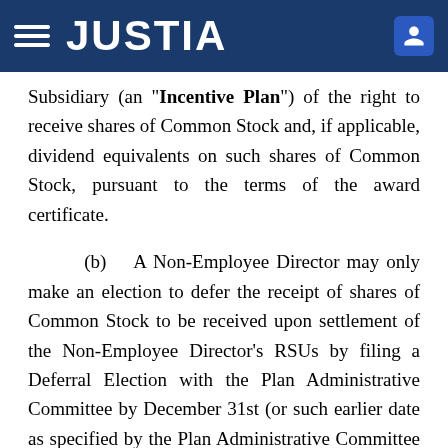JUSTIA
Subsidiary (an "Incentive Plan") of the right to receive shares of Common Stock and, if applicable, dividend equivalents on such shares of Common Stock, pursuant to the terms of the award certificate.
(b) A Non-Employee Director may only make an election to defer the receipt of shares of Common Stock to be received upon settlement of the Non-Employee Director’s RSUs by filing a Deferral Election with the Plan Administrative Committee by December 31st (or such earlier date as specified by the Plan Administrative Committee on the Deferral Election) of the calendar year immediately preceding the calendar year in which the RSUs are